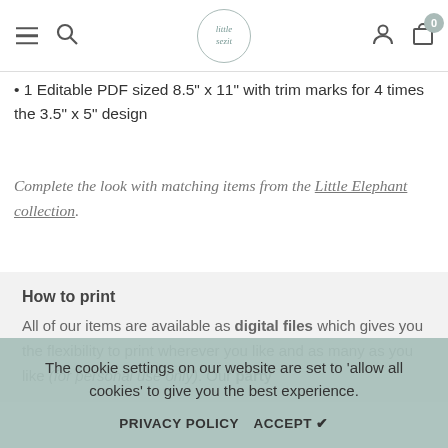Navigation bar with menu, search, little sezit logo, account, and cart (0)
1 Editable PDF sized 8.5" x 11" with trim marks for 4 times the 3.5" x 5" design
Complete the look with matching items from the Little Elephant collection.
How to print
All of our items are available as digital files which gives you the flexibility to print wherever you like and as many as you like (for personal use only). Our party
The cookie settings on our website are set to 'allow all cookies' to give you the best experience.
PRIVACY POLICY   ACCEPT ✔